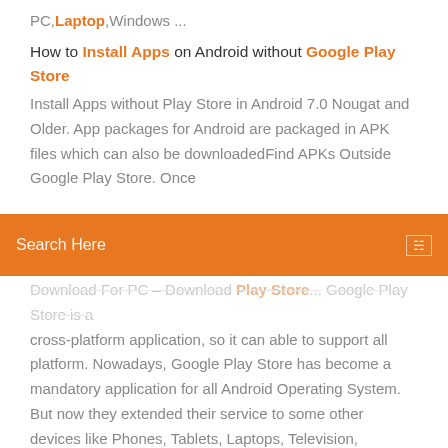PC, Laptop, Windows ...
How to Install Apps on Android without Google Play Store Install Apps without Play Store in Android 7.0 Nougat and Older. App packages for Android are packaged in APK files which can also be downloadedFind APKs Outside Google Play Store. Once
Search Here
Download For PC – Download Play Store... Google Play Store is a cross-platform application, so it can able to support all platform. Nowadays, Google Play Store has become a mandatory application for all Android Operating System. But now they extended their service to some other devices like Phones, Tablets, Laptops, Television, Remote.... How to install Google Services & Google Play Store on... Without Google Play services installed on your device there is no way of updating apps on Google Play.Once you have launched and run Remix OS 2.0 for PC (see how to root Remix OS), next logical step would be to